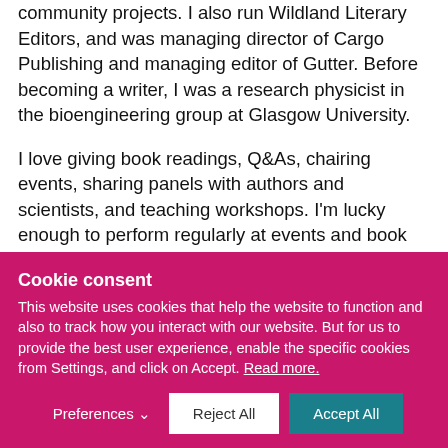community projects. I also run Wildland Literary Editors, and was managing director of Cargo Publishing and managing editor of Gutter. Before becoming a writer, I was a research physicist in the bioengineering group at Glasgow University.
I love giving book readings, Q&As, chairing events, sharing panels with authors and scientists, and teaching workshops. I'm lucky enough to perform regularly at events and book festivals, and am happy to host events and teach workshops about editing, publishing, and running literary magazines,
Cookie consent
This website uses cookies that help the website to function and also to track how you interact with our website. But for us to provide the best user experience, enable the specific cookies from Settings, and click on Accept. Read more.